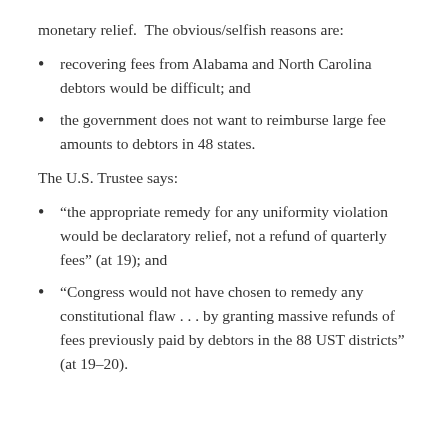monetary relief.  The obvious/selfish reasons are:
recovering fees from Alabama and North Carolina debtors would be difficult; and
the government does not want to reimburse large fee amounts to debtors in 48 states.
The U.S. Trustee says:
“the appropriate remedy for any uniformity violation would be declaratory relief, not a refund of quarterly fees” (at 19); and
“Congress would not have chosen to remedy any constitutional flaw . . . by granting massive refunds of fees previously paid by debtors in the 88 UST districts” (at 19–20).